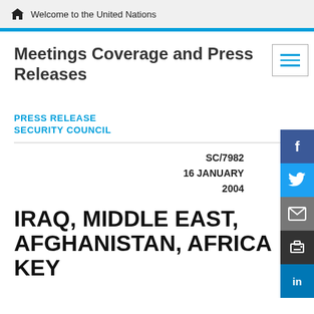Welcome to the United Nations
Meetings Coverage and Press Releases
PRESS RELEASE
SECURITY COUNCIL
SC/7982
16 JANUARY
2004
IRAQ, MIDDLE EAST, AFGHANISTAN, AFRICA KEY